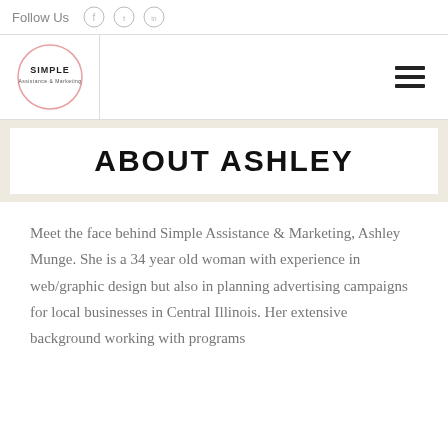Follow Us
[Figure (logo): Simple Assistance & Marketing circular logo]
ABOUT ASHLEY
Meet the face behind Simple Assistance & Marketing, Ashley Munge. She is a 34 year old woman with experience in web/graphic design but also in planning advertising campaigns for local businesses in Central Illinois. Her extensive background working with programs